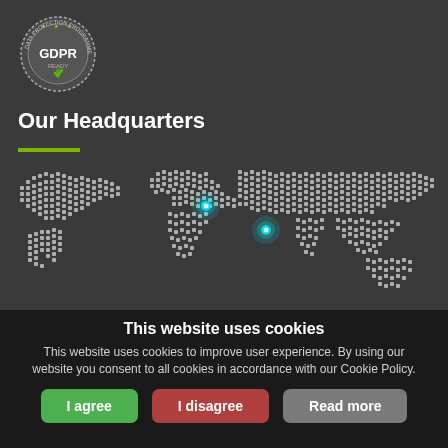[Figure (logo): GDPR Ready badge — circular seal with dashed border, stars, shield with checkmark, text 'DATA PROTECTION PROGRAMME' around edge, 'GDPR READY' in center]
Our Headquarters
[Figure (map): Dotted world map on dark background with two cyan glowing location markers — one near Middle East/Turkey region, one near South Asia/India region]
This website uses cookies
This website uses cookies to improve user experience. By using our website you consent to all cookies in accordance with our Cookie Policy.